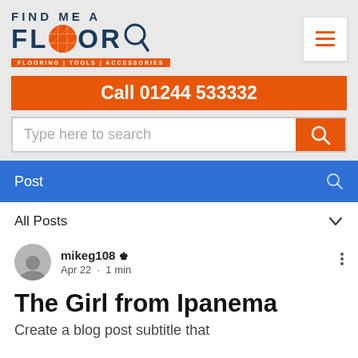[Figure (logo): Find Me A Floor logo with orange circle and magnifying glass, tagline: FLOORING | TOOLS | ACCESSORIES]
Call 01244 533332
Type here to search
Post
All Posts
mikeg108  Admin
Apr 22 · 1 min
The Girl from Ipanema
Create a blog post subtitle that